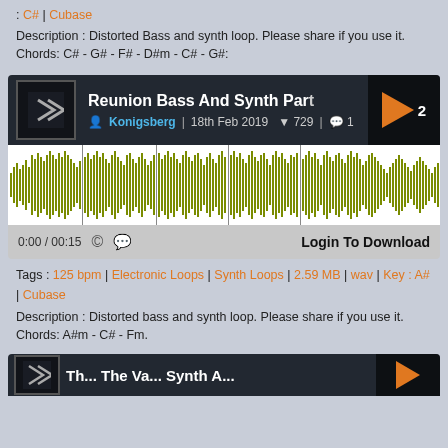: C# | Cubase
Description : Distorted Bass and synth loop. Please share if you use it. Chords: C# - G# - F# - D#m - C# - G#:
[Figure (screenshot): Music player card for 'Reunion Bass And Synth Part 1 Of 2', by Konigsberg, 18th Feb 2019, 729 downloads, 1 comment, with waveform visualization and Login To Download button]
Tags : 125 bpm | Electronic Loops | Synth Loops | 2.59 MB | wav | Key : A# | Cubase
Description : Distorted bass and synth loop. Please share if you use it. Chords: A#m - C# - Fm.
[Figure (screenshot): Partial music player card for another track starting with 'Th...' with play button visible]